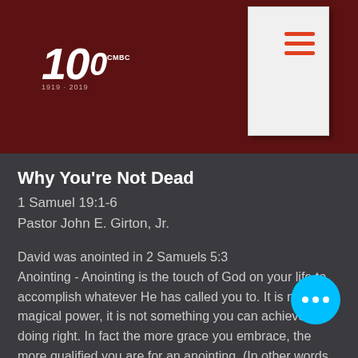CMBC 100 years logo header with dark red background
Why You're Not Dead
1 Samuel 19:1-6
Pastor John E. Girton, Jr.
David was anointed in 2 Samuels 5:3
Anointing - Anointing is the touch of God on your life to accomplish whatever He has called you to. It is not magical power, it is not something you can achieve by doing right. In fact the more grace you embrace, the more qualified you are for an anointing. (In other words, you realize it has NOTHING to do with you). The anointing goes with you everywhere you go.
Gifting - The natural gift represents something a person can do better than most other people, when